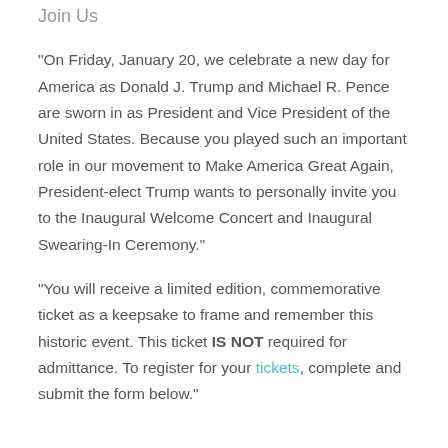Join Us
“On Friday, January 20, we celebrate a new day for America as Donald J. Trump and Michael R. Pence are sworn in as President and Vice President of the United States. Because you played such an important role in our movement to Make America Great Again, President-elect Trump wants to personally invite you to the Inaugural Welcome Concert and Inaugural Swearing-In Ceremony.”
“You will receive a limited edition, commemorative ticket as a keepsake to frame and remember this historic event. This ticket IS NOT required for admittance. To register for your tickets, complete and submit the form below.”